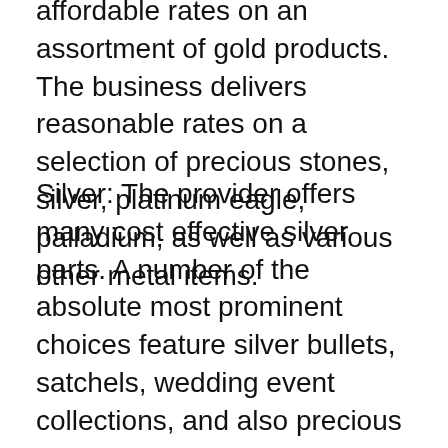affordable rates on an assortment of gold products. The business delivers reasonable rates on a selection of precious stones, silver, platinum eagle, palladium, as well as various other metal items.
Silver: The provider offers many cost effective silver parts. A number of the absolute most prominent choices feature silver bullets, satchels, wedding event collections, and also precious jewelry. Gold gold, silver bars, and coins are actually additionally accessible for investment. Whatever type of gold and silver you opt for, there are going to be an inexpensive solution. There are no annual costs linked with possessing Augusta Precious Metals.